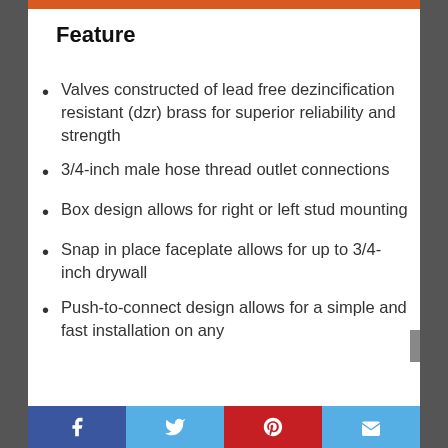Feature
Valves constructed of lead free dezincification resistant (dzr) brass for superior reliability and strength
3/4-inch male hose thread outlet connections
Box design allows for right or left stud mounting
Snap in place faceplate allows for up to 3/4-inch drywall
Push-to-connect design allows for a simple and fast installation on any